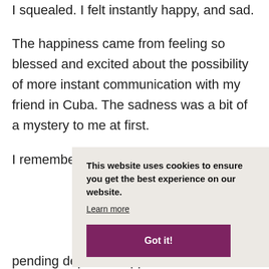I squealed. I felt instantly happy, and sad.
The happiness came from feeling so blessed and excited about the possibility of more instant communication with my friend in Cuba. The sadness was a bit of a mystery to me at first.
I remember being in Cuba last year, the...
pending departure approached.
This website uses cookies to ensure you get the best experience on our website.
Learn more
Got it!